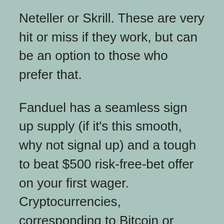Neteller or Skrill. These are very hit or miss if they work, but can be an option to those who prefer that.
Fanduel has a seamless sign up supply (if it's this smooth, why not signal up) and a tough to beat $500 risk-free-bet offer on your first wager. Cryptocurrencies, corresponding to Bitcoin or Ethereum, aren't obtainable as funding choices at legal and controlled sportsbooks. If you see these choices obtainable, then there's a good likelihood that you've stumbled upon a black-market operator that claims it could function safely underneath